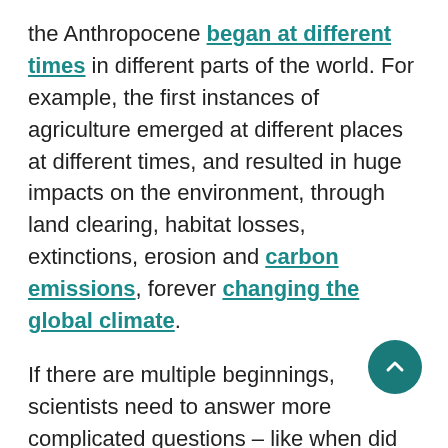the Anthropocene began at different times in different parts of the world. For example, the first instances of agriculture emerged at different places at different times, and resulted in huge impacts on the environment, through land clearing, habitat losses, extinctions, erosion and carbon emissions, forever changing the global climate.
If there are multiple beginnings, scientists need to answer more complicated questions – like when did agriculture begin to transform landscapes in different parts of the world? This is a tough question because archaeologists tend to focus their research on a limited number of sites and regions and to prioritize locations where